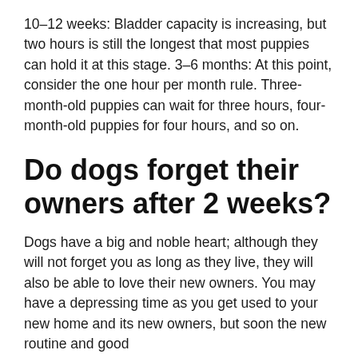10–12 weeks: Bladder capacity is increasing, but two hours is still the longest that most puppies can hold it at this stage. 3–6 months: At this point, consider the one hour per month rule. Three-month-old puppies can wait for three hours, four-month-old puppies for four hours, and so on.
Do dogs forget their owners after 2 weeks?
Dogs have a big and noble heart; although they will not forget you as long as they live, they will also be able to love their new owners. You may have a depressing time as you get used to your new home and its new owners, but soon the new routine and good